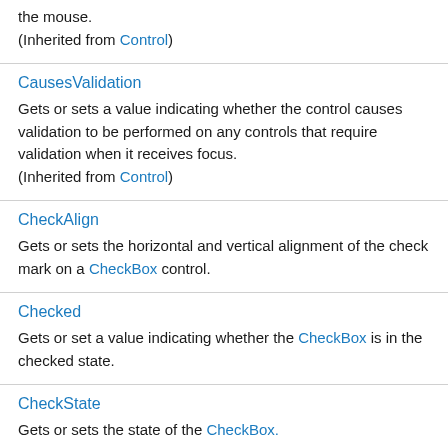the mouse.
(Inherited from Control)
CausesValidation
Gets or sets a value indicating whether the control causes validation to be performed on any controls that require validation when it receives focus.
(Inherited from Control)
CheckAlign
Gets or sets the horizontal and vertical alignment of the check mark on a CheckBox control.
Checked
Gets or set a value indicating whether the CheckBox is in the checked state.
CheckState
Gets or sets the state of the CheckBox.
ClientRectangle